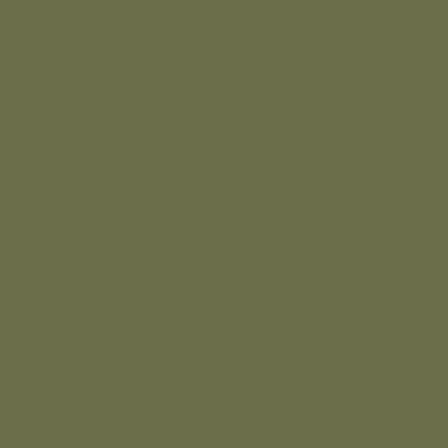it did for 2,0 yea unt De I wo cal on Ca to da his ow fal: an for bo sid of his